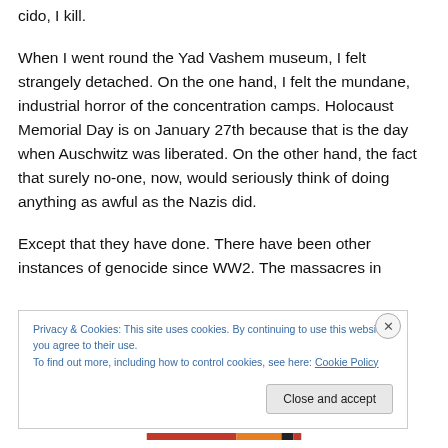cido, I kill.
When I went round the Yad Vashem museum, I felt strangely detached. On the one hand, I felt the mundane, industrial horror of the concentration camps. Holocaust Memorial Day is on January 27th because that is the day when Auschwitz was liberated. On the other hand, the fact that surely no-one, now, would seriously think of doing anything as awful as the Nazis did.
Except that they have done. There have been other instances of genocide since WW2. The massacres in
Privacy & Cookies: This site uses cookies. By continuing to use this website, you agree to their use.
To find out more, including how to control cookies, see here: Cookie Policy
Close and accept